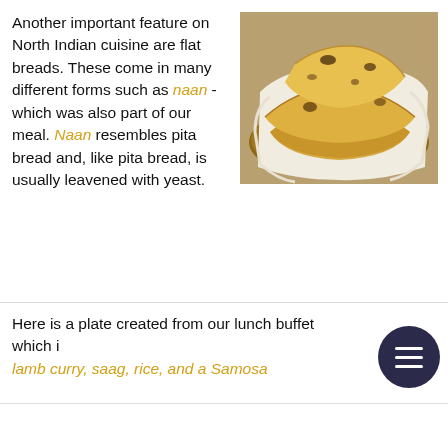Another important feature on North Indian cuisine are flat breads. These come in many different forms such as naan - which was also part of our meal. Naan resembles pita bread and, like pita bread, is usually leavened with yeast.
[Figure (photo): Photo of naan flatbread stacked in a basket lined with white paper]
Here is a plate created from our lunch buffet which includes lamb curry, saag, rice, and a Samosa